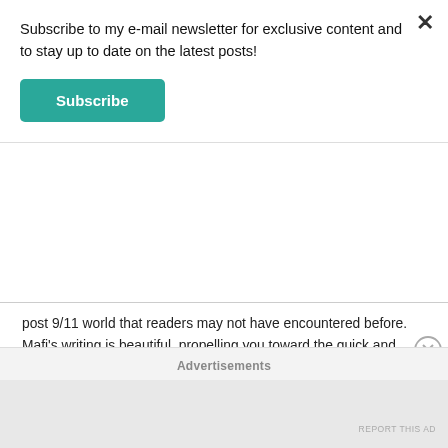Subscribe to my e-mail newsletter for exclusive content and to stay up to date on the latest posts!
Subscribe
post 9/11 world that readers may not have encountered before. Mafi's writing is beautiful, propelling you toward the quick and satisfying conclusion. This one will probably make my best books of 2021 list at the end of the year!
Thanks to Netgalley and Harper Collins for the advanced reader copy. All thoughts are my own in the review and any quotes take from the text are subject to change in the final edition. An Emotion of Great Delight is scheduled for release on June 1, 2021.
Advertisements
REPORT THIS AD